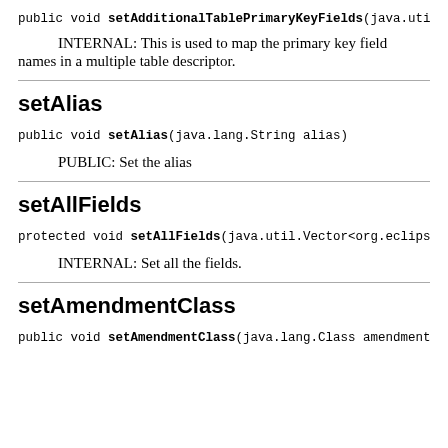public void setAdditionalTablePrimaryKeyFields(java.util
INTERNAL: This is used to map the primary key field names in a multiple table descriptor.
setAlias
public void setAlias(java.lang.String alias)
PUBLIC: Set the alias
setAllFields
protected void setAllFields(java.util.Vector<org.eclipse
INTERNAL: Set all the fields.
setAmendmentClass
public void setAmendmentClass(java.lang.Class amendmentCl